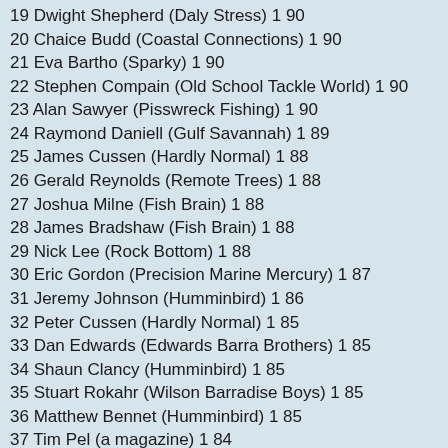19 Dwight Shepherd (Daly Stress) 1 90
20 Chaice Budd (Coastal Connections) 1 90
21 Eva Bartho (Sparky) 1 90
22 Stephen Compain (Old School Tackle World) 1 90
23 Alan Sawyer (Pisswreck Fishing) 1 90
24 Raymond Daniell (Gulf Savannah) 1 89
25 James Cussen (Hardly Normal) 1 88
26 Gerald Reynolds (Remote Trees) 1 88
27 Joshua Milne (Fish Brain) 1 88
28 James Bradshaw (Fish Brain) 1 88
29 Nick Lee (Rock Bottom) 1 88
30 Eric Gordon (Precision Marine Mercury) 1 87
31 Jeremy Johnson (Humminbird) 1 86
32 Peter Cussen (Hardly Normal) 1 85
33 Dan Edwards (Edwards Barra Brothers) 1 85
34 Shaun Clancy (Humminbird) 1 85
35 Stuart Rokahr (Wilson Barradise Boys) 1 85
36 Matthew Bennet (Humminbird) 1 85
37 Tim Pel (a magazine) 1 84
38 Aaron Craufurd (Just Trollin) 1 84
39 Brad Thomson (One Goat) 1 84
40 Darren Kenny (Happy Days) 1 83